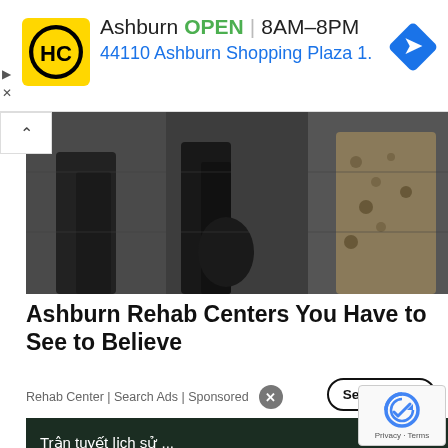[Figure (screenshot): HC (Home Centers) logo in yellow square with black circular logo]
Ashburn  OPEN  8AM–8PM
44110 Ashburn Shopping Plaza 1.
[Figure (photo): Black and white image of people's legs and bags on steps]
Ashburn Rehab Centers You Have to See to Believe
Rehab Center | Search Ads | Sponsored
Search Now
[Figure (screenshot): Dark video thumbnail with Vietnamese text 'Trận tuyết lịch sử ...' and play button]
[Figure (photo): Close-up photo of grey/brown hair and skin]
[Figure (logo): Google reCAPTCHA logo with Privacy Terms text]